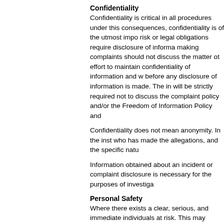Confidentiality
Confidentiality is critical in all procedures under this consequences, confidentiality is of the utmost impo risk or legal obligations require disclosure of informa making complaints should not discuss the matter of effort to maintain confidentiality of information and w before any disclosure of information is made. The in will be strictly required not to discuss the complaint policy and/or the Freedom of Information Policy and
Confidentiality does not mean anonymity. In the inst who has made the allegations, and the specific natu
Information obtained about an incident or complaint disclosure is necessary for the purposes of investiga
Personal Safety
Where there exists a clear, serious, and immediate individuals at risk. This may mean, for the purposes addition, action to address an urgent or emergency administration in order to protect the individual and
Related Information
Respectful University Policy Procedures (223 k
GOV-100-016 Violence Prevention